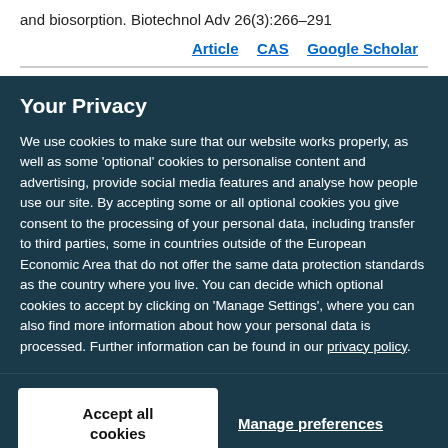and biosorption. Biotechnol Adv 26(3):266–291
Article  CAS  Google Scholar
Your Privacy
We use cookies to make sure that our website works properly, as well as some 'optional' cookies to personalise content and advertising, provide social media features and analyse how people use our site. By accepting some or all optional cookies you give consent to the processing of your personal data, including transfer to third parties, some in countries outside of the European Economic Area that do not offer the same data protection standards as the country where you live. You can decide which optional cookies to accept by clicking on 'Manage Settings', where you can also find more information about how your personal data is processed. Further information can be found in our privacy policy.
Accept all cookies
Manage preferences